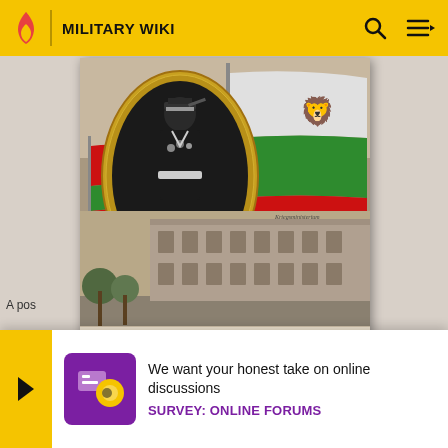MILITARY WIKI
[Figure (photo): Historical postcard showing a military officer in an oval frame with Bulgarian flag and a building labeled Kriegsministerium. Caption reads 'Bulgarien mit uns!']
Bulgarien mit uns !
A pos
The K
We want your honest take on online discussions
SURVEY: ONLINE FORUMS
on